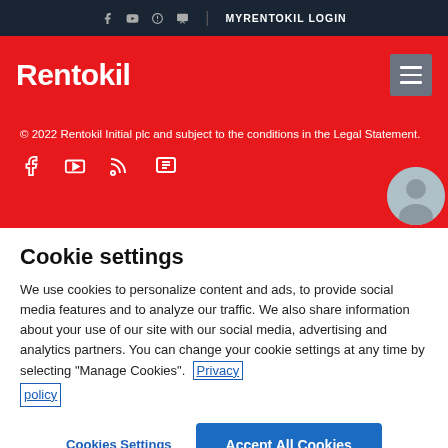MYRENTOKIL LOGIN
Rentokil
© 2022 Rentokil Initial plc and subject to the conditions in the Legal Statement.
[Figure (illustration): Social media icons: Facebook, YouTube, Blog/RSS, Chat/Message, and a circular avatar photo of a person]
Cookie settings
We use cookies to personalize content and ads, to provide social media features and to analyze our traffic. We also share information about your use of our site with our social media, advertising and analytics partners. You can change your cookie settings at any time by selecting "Manage Cookies". Privacy policy
Cookies Settings
Accept All Cookies